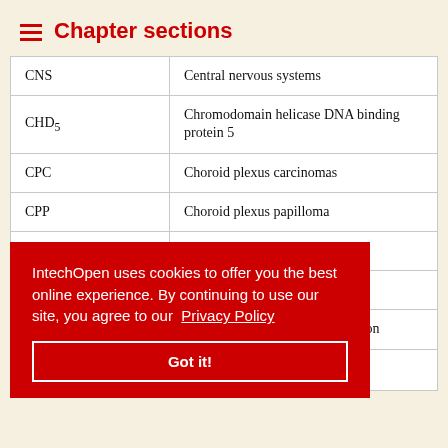Chapter sections
| Abbreviation | Definition |
| --- | --- |
| CNS | Central nervous systems |
| CHD5 | Chromodomain helicase DNA binding protein 5 |
| CPC | Choroid plexus carcinomas |
| CPP | Choroid plexus papilloma |
| CPT | Choroid plexus tumors |
| EGF | Epidermal growth factor |
| FISH | Fluorescence in Situ Hybridization |
IntechOpen uses cookies to offer you the best online experience. By continuing to use our site, you agree to our Privacy Policy
Got it!